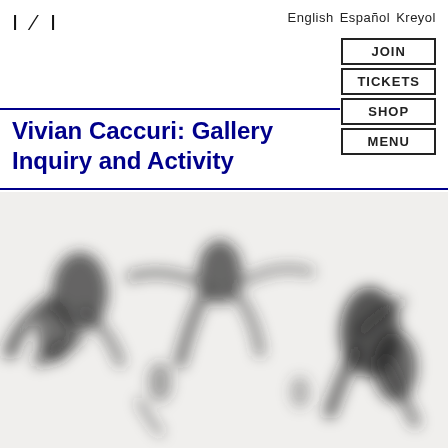I N Z I
English  Español  Kreyol
JOIN
TICKETS
SHOP
MENU
Vivian Caccuri: Gallery Inquiry and Activity
[Figure (photo): Blurred black and white photograph of people in a gallery or performance space, with abstract human figures visible against a light background]